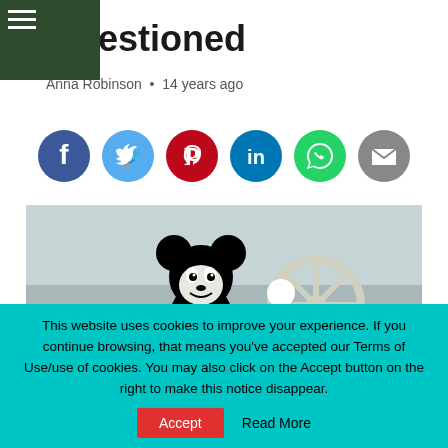Questioned
Anna Robinson • 14 years ago
[Figure (infographic): Row of social media sharing icons: Facebook (dark blue circle), Twitter (light blue circle), Pinterest (red circle), LinkedIn (teal/blue circle), WhatsApp (green circle), Email (gray circle)]
[Figure (photo): Black and white still from Steamboat Willie showing Mickey Mouse at a ship's steering wheel, smiling]
This website uses cookies to improve your experience. If you continue browsing, that means you've accepted our Terms of Use/use of cookies. You may also click on the Accept button on the right to make this notice disappear.
Accept   Read More